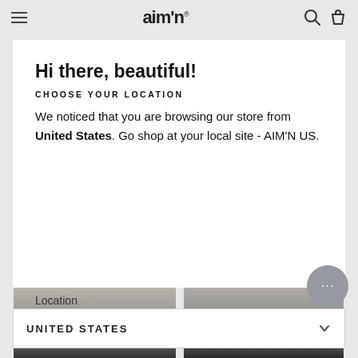aimn
Hi there, beautiful!
CHOOSE YOUR LOCATION
We noticed that you are browsing our store from United States. Go shop at your local site - AIM'N US.
Location
UNITED STATES